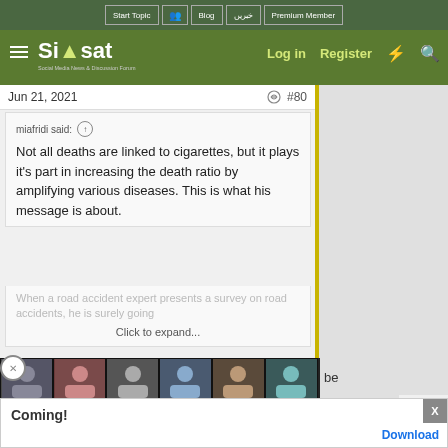Start Topic | Blog | خبریں | Premium Member | Log in | Register
[Figure (logo): Siasat.pk logo with tower icon and tagline 'Social Media News & Discussion Forum']
Jun 21, 2021    #80
miafridi said:
Not all deaths are linked to cigarettes, but it plays it's part in increasing the death ratio by amplifying various diseases. This is what his message is about.
When a road accident expert presents a survey on road accidents, he is surely going
Click to expand...
[Figure (photo): Grid of thumbnail photos showing various people]
be

opped

hostels
Coming!
Download